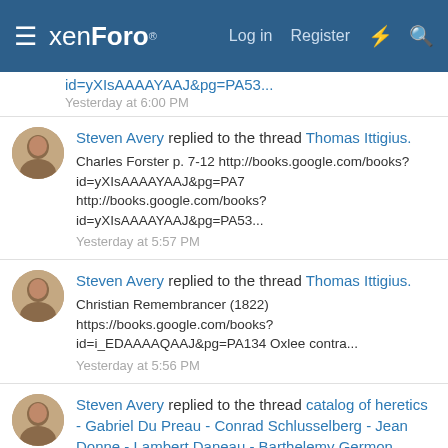xenForo — Log in  Register
Yesterday at 6:00 PM
Steven Avery replied to the thread Thomas Ittigius. Charles Forster p. 7-12 http://books.google.com/books?id=yXIsAAAAYAAJ&pg=PA7 http://books.google.com/books?id=yXIsAAAAYAAJ&pg=PA53... Yesterday at 5:57 PM
Steven Avery replied to the thread Thomas Ittigius. Christian Remembrancer (1822) https://books.google.com/books?id=i_EDAAAAQAAJ&pg=PA134 Oxlee contra... Yesterday at 5:56 PM
Steven Avery replied to the thread catalog of heretics - Gabriel Du Preau - Conrad Schlusselberg - Jean Donne - Lambert Daneau - Barthelemy Germon. Burgess https://books.google.com/books?